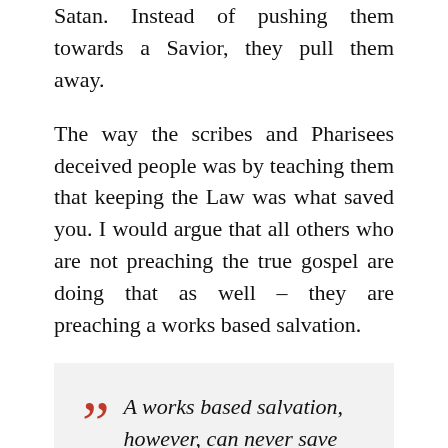Satan. Instead of pushing them towards a Savior, they pull them away.
The way the scribes and Pharisees deceived people was by teaching them that keeping the Law was what saved you. I would argue that all others who are not preaching the true gospel are doing that as well – they are preaching a works based salvation.
A works based salvation, however, can never save us.
It can't save us because God requires not just our best, but perfection. None of us have ever been or ever will